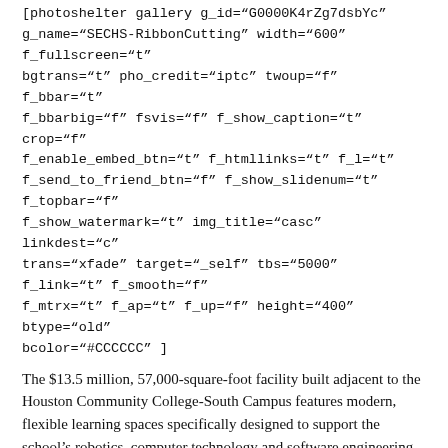[photoshelter gallery g_id="G0000K4rZg7dsbYc" g_name="SECHS-RibbonCutting" width="600" f_fullscreen="t" bgtrans="t" pho_credit="iptc" twoup="f" f_bbar="t" f_bbarbig="f" fsvis="f" f_show_caption="t" crop="f" f_enable_embed_btn="t" f_htmllinks="t" f_l="t" f_send_to_friend_btn="f" f_show_slidenum="t" f_topbar="f" f_show_watermark="t" img_title="casc" linkdest="c" trans="xfade" target="_self" tbs="5000" f_link="t" f_smooth="f" f_mtrx="t" f_ap="t" f_up="f" height="400" btype="old" bcolor="#CCCCCC" ]
The $13.5 million, 57,000-square-foot facility built adjacent to the Houston Community College-South Campus features modern, flexible learning spaces specifically designed to support the school's robotics, computer technology and software engineering programs.
“This is an exciting opportunity we have here at 1930 Airport Road,” South Early Principal Steven Gourrier said to the audience. “It took a long time for us to get here, but now we’re here and excited about what’s to happen from this point forward at South Early College High School.”